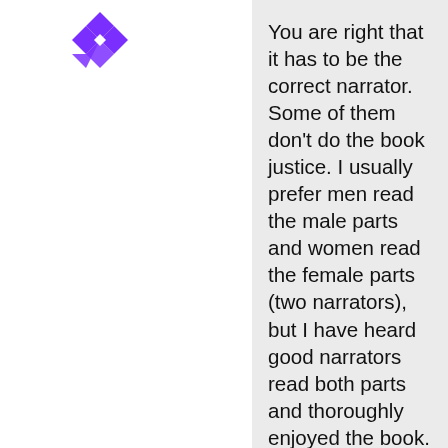[Figure (logo): Purple geometric diamond/snowflake logo icon]
You are right that it has to be the correct narrator. Some of them don't do the book justice. I usually prefer men read the male parts and women read the female parts (two narrators), but I have heard good narrators read both parts and thoroughly enjoyed the book. My main gripe with audiobooks is that they take longer to get through. I usually read